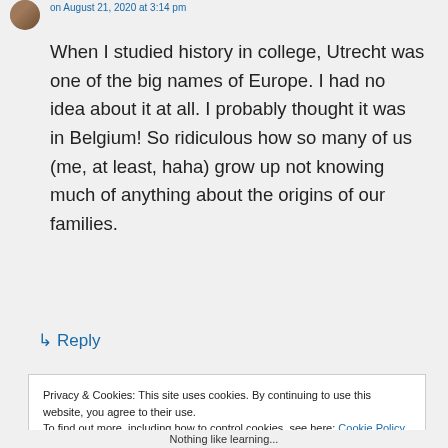When I studied history in college, Utrecht was one of the big names of Europe. I had no idea about it at all. I probably thought it was in Belgium! So ridiculous how so many of us (me, at least, haha) grow up not knowing much of anything about the origins of our families.
↳ Reply
Privacy & Cookies: This site uses cookies. By continuing to use this website, you agree to their use.
To find out more, including how to control cookies, see here: Cookie Policy
Close and accept